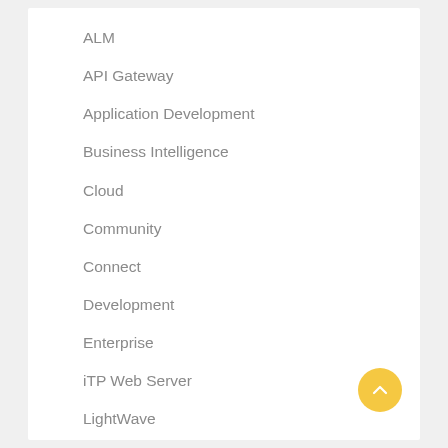ALM
API Gateway
Application Development
Business Intelligence
Cloud
Community
Connect
Development
Enterprise
iTP Web Server
LightWave
LogWatch
Methodology